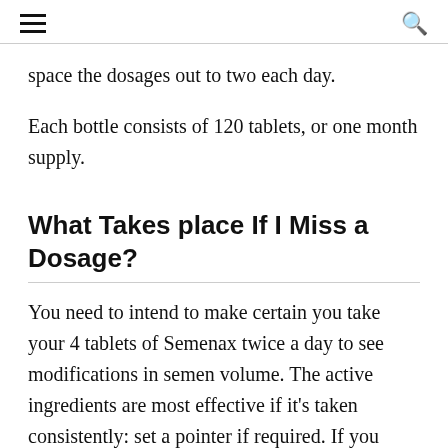[hamburger menu] [search icon]
space the dosages out to two each day.
Each bottle consists of 120 tablets, or one month supply.
What Takes place If I Miss a Dosage?
You need to intend to make certain you take your 4 tablets of Semenax twice a day to see modifications in semen volume. The active ingredients are most effective if it’s taken consistently: set a pointer if required. If you didn’t handle to take your pills twice